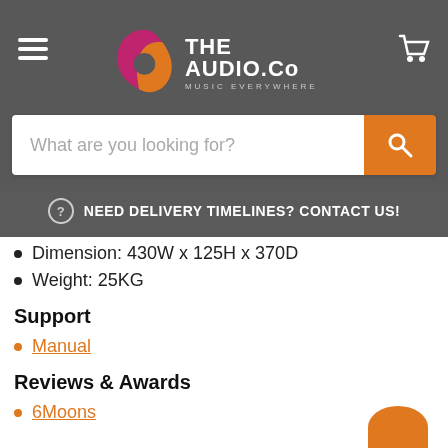[Figure (logo): The Audio Co logo with music note icon and tagline MUSIC EVERYWHERE on dark grey header background]
What are you looking for?
NEED DELIVERY TIMELINES? CONTACT US!
Dimension: 430W x 125H x 370D
Weight: 25KG
Support
Manual
Reviews & Awards
6Moons